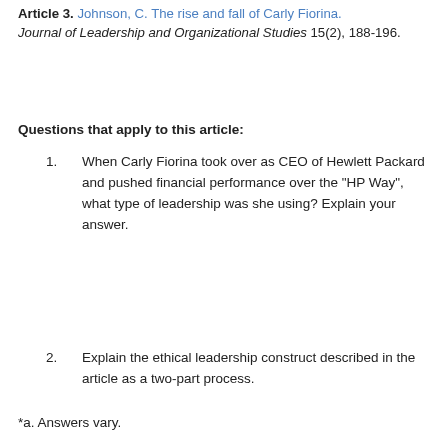Article 3. Johnson, C. The rise and fall of Carly Fiorina. Journal of Leadership and Organizational Studies 15(2), 188-196.
Questions that apply to this article:
When Carly Fiorina took over as CEO of Hewlett Packard and pushed financial performance over the “HP Way”, what type of leadership was she using? Explain your answer.
Explain the ethical leadership construct described in the article as a two-part process.
What behaviors, actions and decision-making process did Ms. Fiorina use that did not follow the ethical leadership construct?
*a. Answers vary.